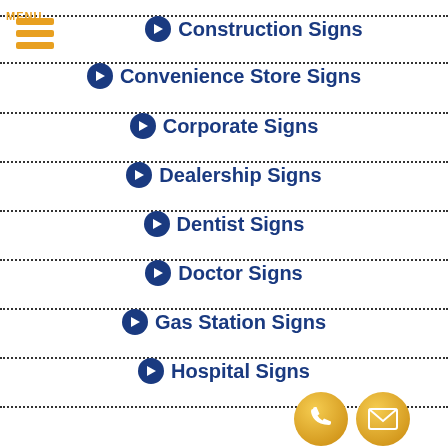[Figure (other): Orange hamburger menu icon with three horizontal bars and MENU label]
Construction Signs
Convenience Store Signs
Corporate Signs
Dealership Signs
Dentist Signs
Doctor Signs
Gas Station Signs
Hospital Signs
[Figure (other): Gold phone and email contact icons at bottom right]